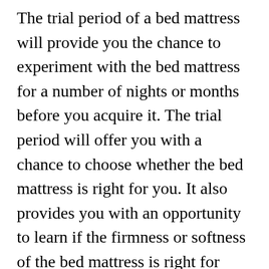The trial period of a bed mattress will provide you the chance to experiment with the bed mattress for a number of nights or months before you acquire it. The trial period will offer you with a chance to choose whether the bed mattress is right for you. It also provides you with an opportunity to learn if the firmness or softness of the bed mattress is right for you. You can likewise experiment with different temperature levels and see if they work for you.
If you choose to buy a bed mattress through